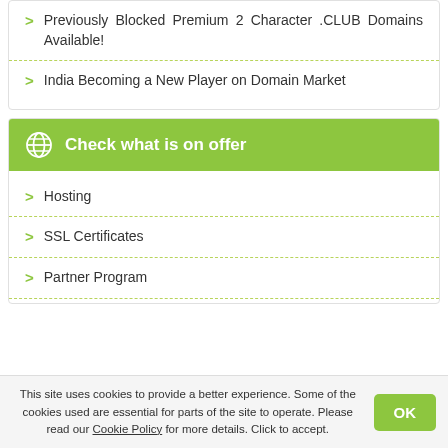Previously Blocked Premium 2 Character .CLUB Domains Available!
India Becoming a New Player on Domain Market
Check what is on offer
Hosting
SSL Certificates
Partner Program
This site uses cookies to provide a better experience. Some of the cookies used are essential for parts of the site to operate. Please read our Cookie Policy for more details. Click to accept.